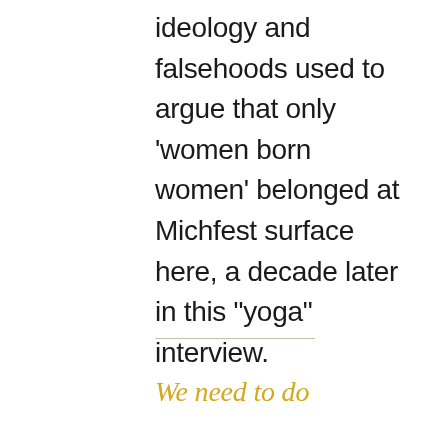ideology and falsehoods used to argue that only ‘women born women’ belonged at Michfest surface here, a decade later in this “yoga” interview.
We need to do